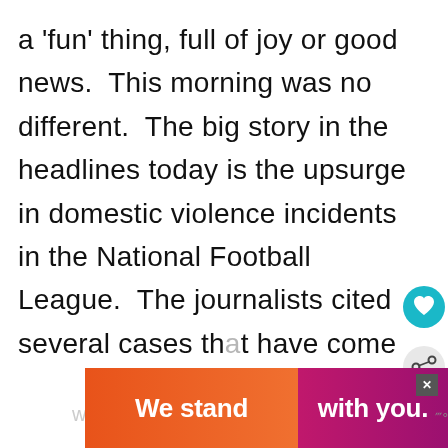a 'fun' thing, full of joy or good news.  This morning was no different.  The big story in the headlines today is the upsurge in domestic violence incidents in the National Football League.  The journalists cited several cases that have come to light recently where professional football players have been accused of abusing their
[Figure (screenshot): UI overlay elements: heart/like icon (teal circle with heart), share icon (circle with share symbol), 'What's Next' panel with thumbnail and 'Raising Teenagers a...' text]
[Figure (screenshot): Bottom advertisement banner with text 'We stand with you.' on orange and purple/magenta background with close button]